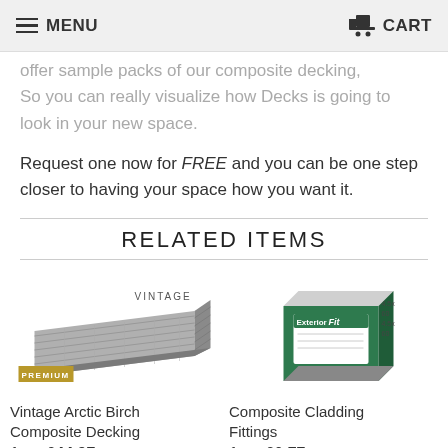MENU  CART
offer sample packs of our composite decking, So you can really visualize how Decks is going to look in your new space.
Request one now for FREE and you can be one step closer to having your space how you want it.
RELATED ITEMS
[Figure (photo): Vintage Arctic Birch Composite Decking board shown at angle with VINTAGE label and PREMIUM badge]
Vintage Arctic Birch Composite Decking
from £44.97
[Figure (photo): Composite Cladding Fittings box shown at angle, green and white packaging with Exterior Fit branding]
Composite Cladding Fittings
from £0.77